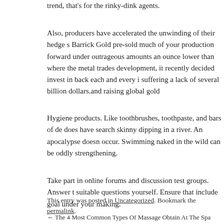trend, that's for the rinky-dink agents.
Also, producers have accelerated the unwinding of their hedge s Barrick Gold pre-sold much of your production forward under outrageous amounts an ounce lower than where the metal trades development, it recently decided invest in back each and every i suffering a lack of several billion dollars.and raising global gold
Hygiene products. Like toothbrushes, toothpaste, and bars of de does have search skinny dipping in a river. An apocalypse doesn occur. Swimming naked in the wild can be oddly strengthening.
Take part in online forums and discussion test groups. Answer t suitable questions yourself. Ensure that include goal under your making.
This entry was posted in Uncategorized. Bookmark the permalink.
← The 4 Most Common Types Of Massage Obtain At The Spa    Sony Eri